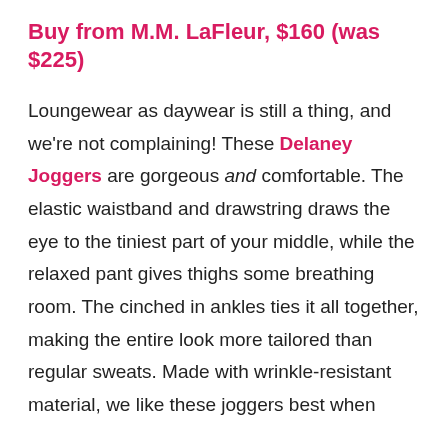Buy from M.M. LaFleur, $160 (was $225)
Loungewear as daywear is still a thing, and we're not complaining! These Delaney Joggers are gorgeous and comfortable. The elastic waistband and drawstring draws the eye to the tiniest part of your middle, while the relaxed pant gives thighs some breathing room. The cinched in ankles ties it all together, making the entire look more tailored than regular sweats. Made with wrinkle-resistant material, we like these joggers best when